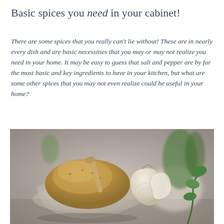Basic spices you need in your cabinet!
There are some spices that you really can't lie without! These are in nearly every dish and are basic necessities that you may or may not realize you need in your home. It may be easy to guess that salt and pepper are by far the most basic and key ingredients to have in your kitchen, but what are some other spices that you may not even realize could be useful in your home?
[Figure (photo): A glass bowl filled with ground spice (garlic powder) with a wooden spoon resting in it, alongside a garlic bulb and green herb sprigs, all arranged on a rustic grey surface.]